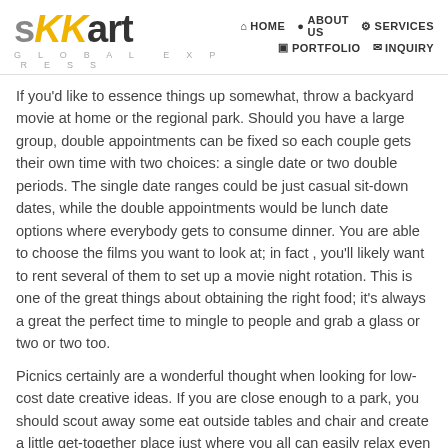[Figure (logo): sKKart Global Express logo with navigation menu: HOME, ABOUT US, SERVICES, PORTFOLIO, INQUIRY]
If you'd like to essence things up somewhat, throw a backyard movie at home or the regional park. Should you have a large group, double appointments can be fixed so each couple gets their own time with two choices: a single date or two double periods. The single date ranges could be just casual sit-down dates, while the double appointments would be lunch date options where everybody gets to consume dinner. You are able to choose the films you want to look at; in fact , you'll likely want to rent several of them to set up a movie night rotation. This is one of the great things about obtaining the right food; it's always a great the perfect time to mingle to people and grab a glass or two or two too.
Picnics certainly are a wonderful thought when looking for low-cost date creative ideas. If you are close enough to a park, you should scout away some eat outside tables and chair and create a little get-together place just where you all can easily relax even though enjoying the gorgeous scenery. You might create a map of the park and have persons mark off their picnic locations on the map – perhaps with a little warning about